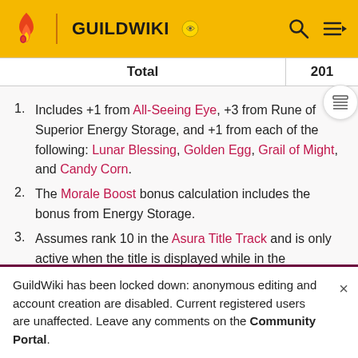GUILDWIKI
| Total | 201 |
| --- | --- |
Includes +1 from All-Seeing Eye, +3 from Rune of Superior Energy Storage, and +1 from each of the following: Lunar Blessing, Golden Egg, Grail of Might, and Candy Corn.
The Morale Boost bonus calculation includes the bonus from Energy Storage.
Assumes rank 10 in the Asura Title Track and is only active when the title is displayed while in the Tarnished Coast.
GuildWiki has been locked down: anonymous editing and account creation are disabled. Current registered users are unaffected. Leave any comments on the Community Portal.